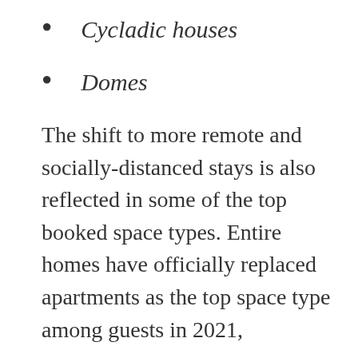Cycladic houses
Domes
The shift to more remote and socially-distanced stays is also reflected in some of the top booked space types. Entire homes have officially replaced apartments as the top space type among guests in 2021,